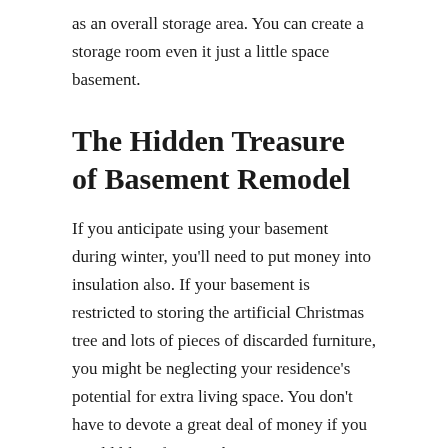as an overall storage area. You can create a storage room even it just a little space basement.
The Hidden Treasure of Basement Remodel
If you anticipate using your basement during winter, you'll need to put money into insulation also. If your basement is restricted to storing the artificial Christmas tree and lots of pieces of discarded furniture, you might be neglecting your residence's potential for extra living space. You don't have to devote a great deal of money if you would like a fantastic basement.
Your basement is only going to be as sound as your